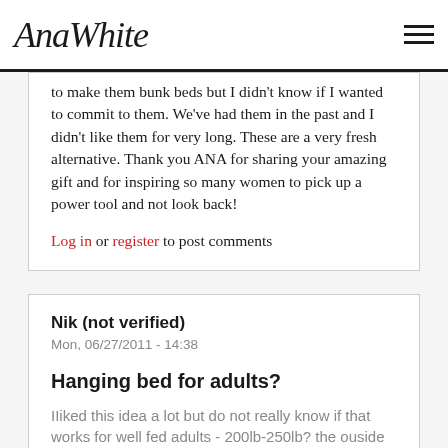AnaWhite
to make them bunk beds but I didn't know if I wanted to commit to them. We've had them in the past and I didn't like them for very long. These are a very fresh alternative. Thank you ANA for sharing your amazing gift and for inspiring so many women to pick up a power tool and not look back!
Log in or register to post comments
Nik (not verified)
Mon, 06/27/2011 - 14:38
Hanging bed for adults?
IIiked this idea a lot but do not really know if that works for well fed adults - 200lb-250lb? the ouside corners are secured with eye bold and ropes attached